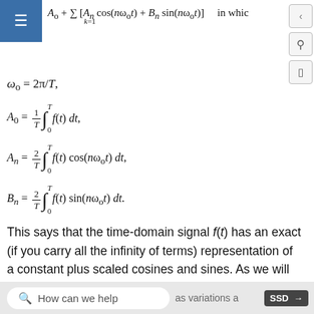This says that the time-domain signal f(t) has an exact (if you carry all the infinity of terms) representation of a constant plus scaled cosines and sines. As we will see later, the impact of this second, frequency-domain